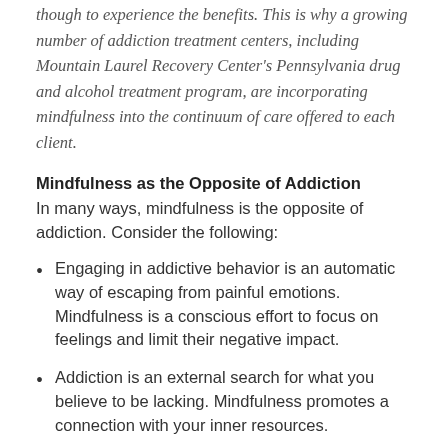though to experience the benefits. This is why a growing number of addiction treatment centers, including Mountain Laurel Recovery Center's Pennsylvania drug and alcohol treatment program, are incorporating mindfulness into the continuum of care offered to each client.
Mindfulness as the Opposite of Addiction
In many ways, mindfulness is the opposite of addiction. Consider the following:
Engaging in addictive behavior is an automatic way of escaping from painful emotions. Mindfulness is a conscious effort to focus on feelings and limit their negative impact.
Addiction is an external search for what you believe to be lacking. Mindfulness promotes a connection with your inner resources.
Addiction leads to denial and dishonesty.